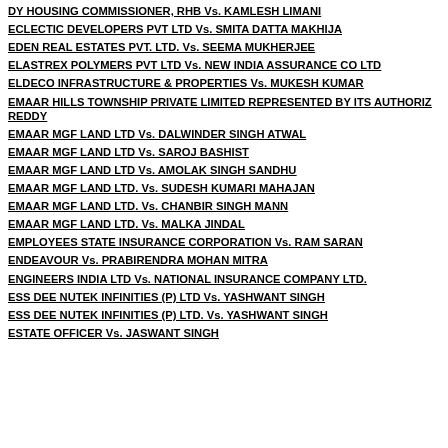DY HOUSING COMMISSIONER, RHB Vs. KAMLESH LIMANI
ECLECTIC DEVELOPERS PVT LTD Vs. SMITA DATTA MAKHIJA
EDEN REAL ESTATES PVT. LTD. Vs. SEEMA MUKHERJEE
ELASTREX POLYMERS PVT LTD Vs. NEW INDIA ASSURANCE CO LTD
ELDECO INFRASTRUCTURE & PROPERTIES Vs. MUKESH KUMAR
EMAAR HILLS TOWNSHIP PRIVATE LIMITED REPRESENTED BY ITS AUTHORIZ REDDY
EMAAR MGF LAND LTD Vs. DALWINDER SINGH ATWAL
EMAAR MGF LAND LTD Vs. SAROJ BASHIST
EMAAR MGF LAND LTD Vs. AMOLAK SINGH SANDHU
EMAAR MGF LAND LTD. Vs. SUDESH KUMARI MAHAJAN
EMAAR MGF LAND LTD. Vs. CHANBIR SINGH MANN
EMAAR MGF LAND LTD. Vs. MALKA JINDAL
EMPLOYEES STATE INSURANCE CORPORATION Vs. RAM SARAN
ENDEAVOUR Vs. PRABIRENDRA MOHAN MITRA
ENGINEERS INDIA LTD Vs. NATIONAL INSURANCE COMPANY LTD.
ESS DEE NUTEK INFINITIES (P) LTD Vs. YASHWANT SINGH
ESS DEE NUTEK INFINITIES (P) LTD. Vs. YASHWANT SINGH
ESTATE OFFICER Vs. JASWANT SINGH